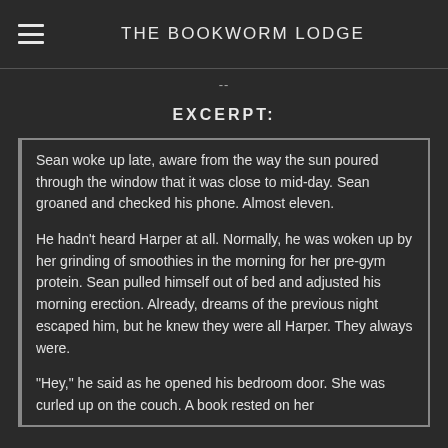THE BOOKWORM LODGE
--
EXCERPT:
Sean woke up late, aware from the way the sun poured through the window that it was close to mid-day. Sean groaned and checked his phone. Almost eleven.
He hadn't heard Harper at all. Normally, he was woken up by her grinding of smoothies in the morning for her pre-gym protein. Sean pulled himself out of bed and adjusted his morning erection. Already, dreams of the previous night escaped him, but he knew they were all Harper. They always were.
"Hey," he said as he opened his bedroom door. She was curled up on the couch. A book rested on her